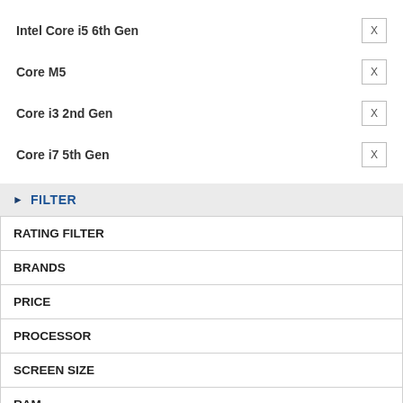Intel Core i5 6th Gen  X
Core M5  X
Core i3 2nd Gen  X
Core i7 5th Gen  X
▶ FILTER
| RATING FILTER |
| BRANDS |
| PRICE |
| PROCESSOR |
| SCREEN SIZE |
| RAM |